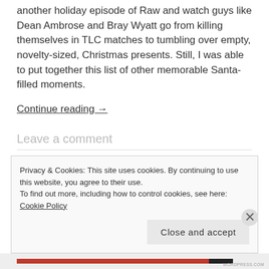another holiday episode of Raw and watch guys like Dean Ambrose and Bray Wyatt go from killing themselves in TLC matches to tumbling over empty, novelty-sized, Christmas presents. Still, I was able to put together this list of other memorable Santa-filled moments.
Continue reading →
Leave a comment
Privacy & Cookies: This site uses cookies. By continuing to use this website, you agree to their use. To find out more, including how to control cookies, see here: Cookie Policy
Close and accept